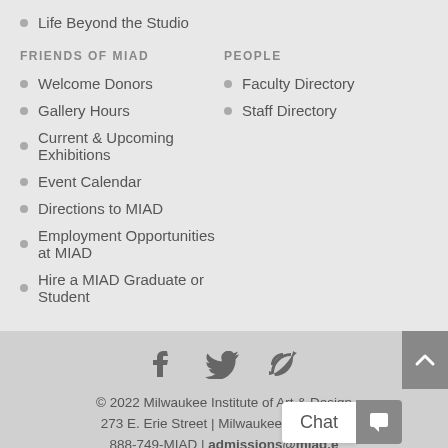Life Beyond the Studio
FRIENDS OF MIAD
PEOPLE
Welcome Donors
Faculty Directory
Gallery Hours
Staff Directory
Current & Upcoming Exhibitions
Event Calendar
Directions to MIAD
Employment Opportunities at MIAD
Hire a MIAD Graduate or Student
© 2022 Milwaukee Institute of Art & Design
273 E. Erie Street | Milwaukee, WI 53202
888-749-MIAD | admissions@miad.e…
Privacy Policy